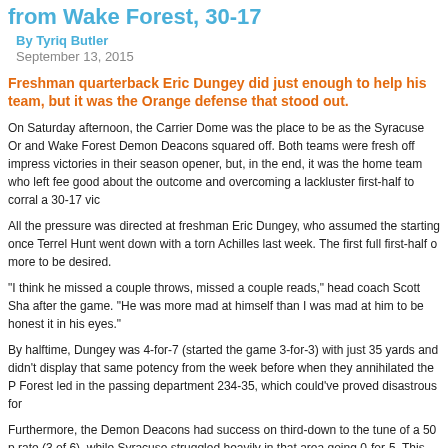from Wake Forest, 30-17
By Tyriq Butler
September 13, 2015
Freshman quarterback Eric Dungey did just enough to help his team, but it was the Orange defense that stood out.
On Saturday afternoon, the Carrier Dome was the place to be as the Syracuse Orange and Wake Forest Demon Deacons squared off. Both teams were fresh off impressive victories in their season opener, but, in the end, it was the home team who left feeling good about the outcome and overcoming a lackluster first-half to corral a 30-17 vic...
All the pressure was directed at freshman Eric Dungey, who assumed the starting role once Terrel Hunt went down with a torn Achilles last week. The first full first-half of... more to be desired.
"I think he missed a couple throws, missed a couple reads," head coach Scott Sha... after the game. "He was more mad at himself than I was mad at him to be honest... it in his eyes."
By halftime, Dungey was 4-for-7 (started the game 3-for-3) with just 35 yards and... didn't display that same potency from the week before when they annihilated the P... Forest led in the passing department 234-35, which could've proved disastrous for...
Furthermore, the Demon Deacons had success on third-down to the tune of a 50 p... rate (3 of 6), while Syracuse struggled heavily in that area going 0-for-5. This had... the time of possession: Wake Forest won that battle by nearly five minutes.
The second half was a different story. Syracuse came out of the locker room with a... intensity and ultimately took control of the game, outscoring the Demon Deacons...